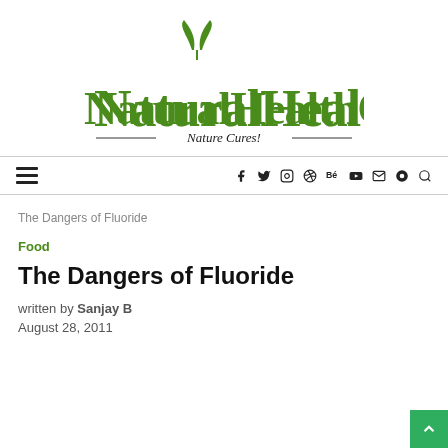[Figure (logo): NaturalHealthCure logo with green leaves icon above the 'N' in the wordmark, and tagline 'Nature Cures!' with decorative lines on either side]
NaturalHealthCure — Nature Cures!
The Dangers of Fluoride
Food
The Dangers of Fluoride
written by Sanjay B
August 28, 2011